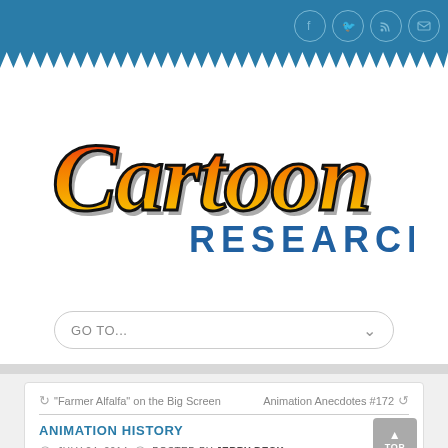Cartoon Research website header with social media icons (Facebook, Twitter, RSS, Email)
[Figure (logo): Cartoon Research logo — stylized script 'Cartoon' text in red-orange-yellow gradient with 'RESEARCH' in blue block letters below]
GO TO...
“Farmer Alfalfa” on the Big Screen
Animation Anecdotes #172
ANIMATION HISTORY
JULY 24, 2014  POSTED BY JERRY BECK